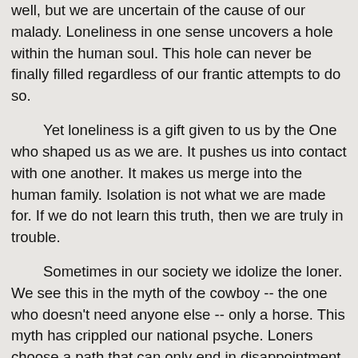well, but we are uncertain of the cause of our malady. Loneliness in one sense uncovers a hole within the human soul. This hole can never be finally filled regardless of our frantic attempts to do so.
Yet loneliness is a gift given to us by the One who shaped us as we are. It pushes us into contact with one another. It makes us merge into the human family. Isolation is not what we are made for. If we do not learn this truth, then we are truly in trouble.
Sometimes in our society we idolize the loner. We see this in the myth of the cowboy -- the one who doesn't need anyone else -- only a horse. This myth has crippled our national psyche. Loners choose a path that can only end in disappointment and despair.
We need each other. This is the most vital truth I know. If we fail at finding friends in life, then we become the most miserable of God's creatures. We need people with whom we can share our hopes -- our dreams. We need friends who will rejoice when we do and...